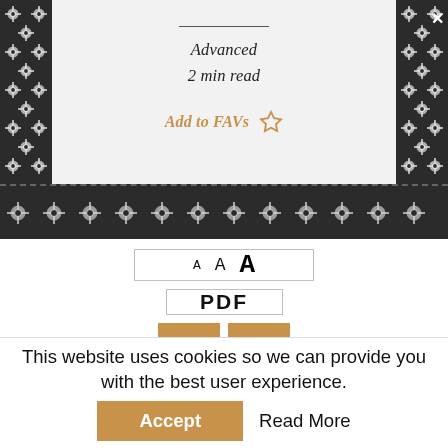[Figure (screenshot): Top card section with dark floral decorative borders on left and right, showing 'Advanced 2 min read' in italic text and 'Add to FAVs' with star icon in gold/amber color]
Advanced
2 min read
Add to FAVs ☆
[Figure (screenshot): Font size selector button showing three A letters in increasing sizes, bordered box]
[Figure (screenshot): PDF button in bordered box]
[Figure (screenshot): Social sharing buttons: Twitter bird icon and email envelope icon, both in amber/gold background]
This website uses cookies so we can provide you with the best user experience.
Accept
Read More